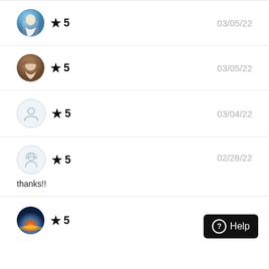★ 5   03/05/22
★ 5   03/05/22
★ 5   03/04/22
★ 5   02/28/22
thanks!!
★ 5